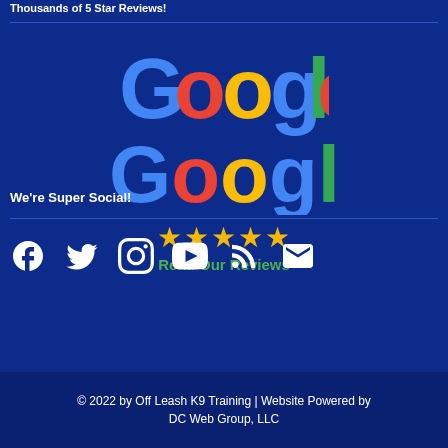Thousands of 5 Star Reviews!
[Figure (logo): Google logo with 5 gold stars and green 'Read Our Reviews' text below]
We're Super Social!
[Figure (infographic): Social media icons: Facebook, Twitter, Instagram, YouTube, RSS, Email]
© 2022 by Off Leash K9 Training | Website Powered by DC Web Group, LLC